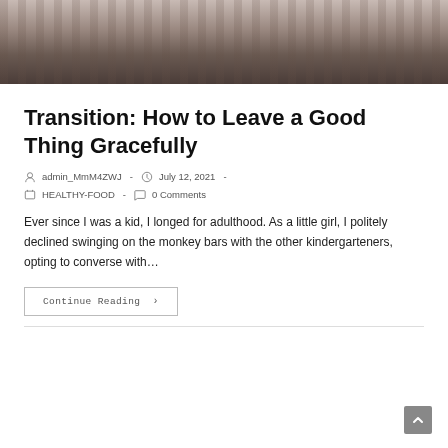[Figure (photo): Hero image showing a person in light-colored clothing at the top of the blog post card, with a dark architectural background with vertical columns/pillars.]
Transition: How to Leave a Good Thing Gracefully
admin_MmM4ZWJ - July 12, 2021 - HEALTHY-FOOD - 0 Comments
Ever since I was a kid, I longed for adulthood. As a little girl, I politely declined swinging on the monkey bars with the other kindergarteners, opting to converse with…
Continue Reading ›